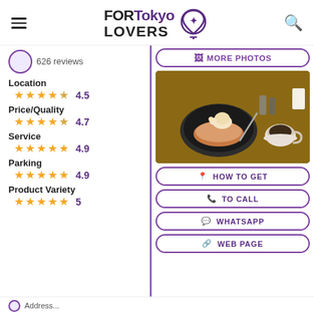FORTokyo LOVERS
626 reviews
MORE PHOTOS
Location
4.5
Price/Quality
4.7
Service
4.9
Parking
4.9
Product Variety
5
[Figure (photo): Food photo: pancake with ice cream on dark plate, coffee cup, on wooden table]
HOW TO GET
TO CALL
WHATSAPP
WEB PAGE
Address...